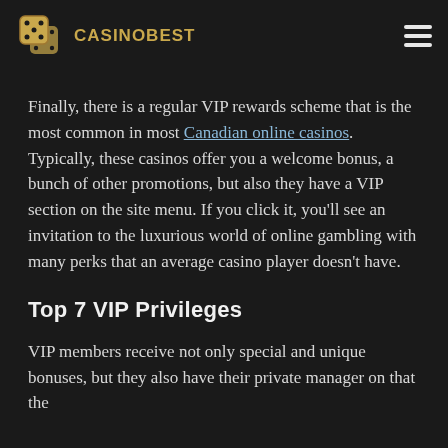CASINOBEST
Finally, there is a regular VIP rewards scheme that is the most common in most Canadian online casinos. Typically, these casinos offer you a welcome bonus, a bunch of other promotions, but also they have a VIP section on the site menu. If you click it, you'll see an invitation to the luxurious world of online gambling with many perks that an average casino player doesn't have.
Top 7 VIP Privileges
VIP members receive not only special and unique bonuses, but they also have their private manager on that the deposit bonuses it have for the